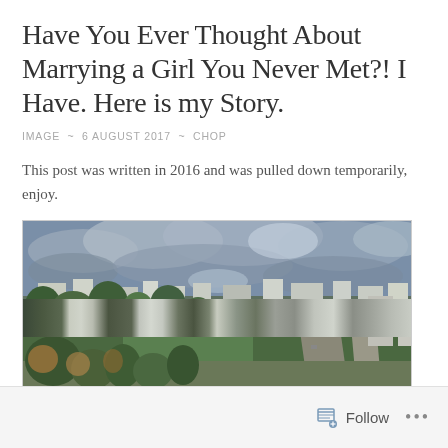Have You Ever Thought About Marrying a Girl You Never Met?! I Have. Here is my Story.
IMAGE ~ 6 AUGUST 2017 ~ CHOP
This post was written in 2016 and was pulled down temporarily, enjoy.
[Figure (photo): Aerial panoramic view of a city with buildings, trees, parks, and roads under a dramatic cloudy sky, HDR-style photograph]
Follow ...